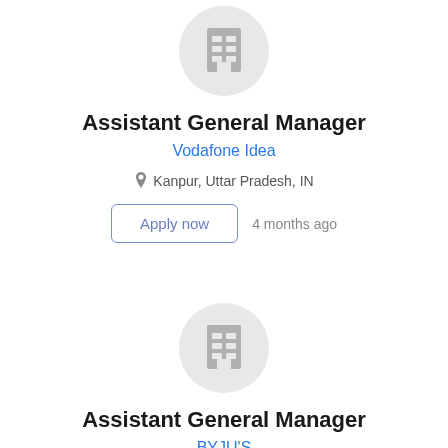[Figure (logo): Building/company logo icon in gray circle for Vodafone Idea]
Assistant General Manager
Vodafone Idea
Kanpur, Uttar Pradesh, IN
Apply now   4 months ago
[Figure (logo): Building/company logo icon in gray circle for BYJU'S]
Assistant General Manager
BYJU'S
Gurgaon/Gurugram, IN